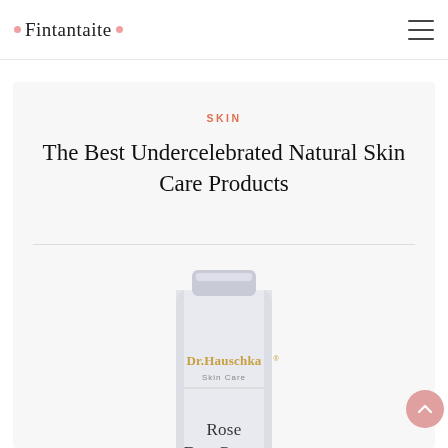Fintantaite
SKIN
The Best Undercelebrated Natural Skin Care Products
[Figure (photo): Dr. Hauschka Skin Care Rose Day Cream tube product photo on light gray background]